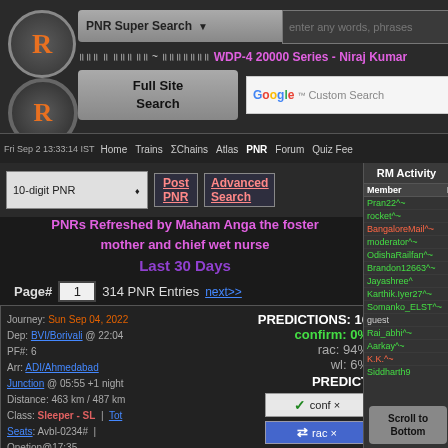[Figure (screenshot): Indian Railways fan site header with logo, PNR Super Search bar, train title WDP-4 20000 Series - Niraj Kumar, Full Site Search, Google Custom Search]
Fri Sep 2 13:33:14 IST  Home  Trains  ΣChains  Atlas  PNR  Forum  Quiz Fee
10-digit PNR  Post PNR  Advanced Search
PNRs Refreshed by Maham Anga the foster mother and chief wet nurse
Last 30 Days
Page# 1  314 PNR Entries  next>>
| Member | P |
| --- | --- |
| Pran22^~ | 8 |
| rocket^~ | 4 |
| BangaloreMail^~ | 4 |
| moderator^~ | 3 |
| OdishaRailfan^~ | 3 |
| Brandon12663^~ | 3 |
| Jayashree^ | 2 |
| Karthik.Iyer27^~ | 2 |
| Somanko_ELST^~ | 2 |
| guest | 2 |
| Rai_abhi^~ | 1 |
| Aarkay^~ |  |
| K.K.^~ |  |
| Siddharth9 |  |
Journey: Sun Sep 04, 2022
Dep: BVI/Borivali @ 22:04
PF#: 6
Arr: ADI/Ahmedabad Junction @ 05:55 +1 night
Distance: 463 km / 487 km
Class: Sleeper - SL  |  Tot Seats: Avbl-0234#  |
PREDICTIONS: 16
confirm: 0%
rac: 94%
wl: 6%
PREDICT
✓  conf ×
⇄  rac ×
Scroll to Bottom